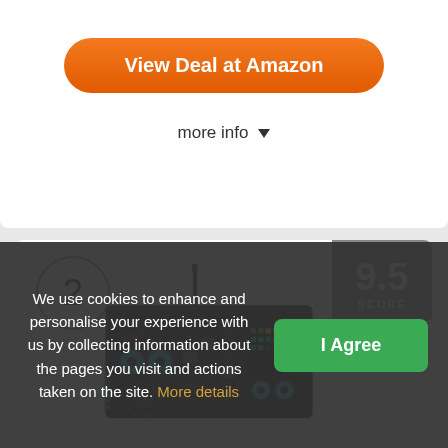View Deal at Amazon
more info ▾
2
9.5 SCORE
[Figure (photo): Black DJ audio mixer with wireless antenna, faders, knobs and blue LED indicators - Pyle PMX7BU]
We use cookies to enhance and personalise your experience with us by collecting information about the pages you visit and actions taken on the site. More details
I Agree